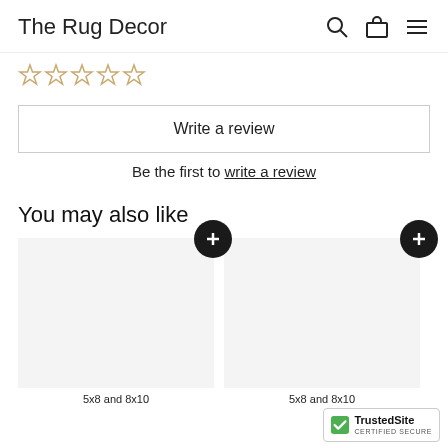The Rug Decor
[Figure (other): Five empty star rating icons in a row]
Write a review
Be the first to write a review
You may also like
[Figure (other): Two product placeholder cards with plus buttons, each labeled '5x8 and 8x10']
[Figure (other): TrustedSite Certified Secure badge]